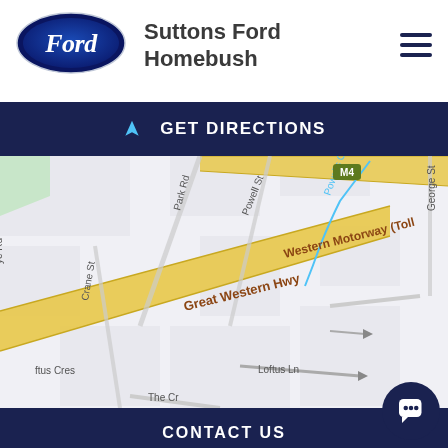[Figure (logo): Ford oval logo in blue with white Ford script text]
Suttons Ford Homebush
[Figure (other): Hamburger menu icon (three horizontal lines)]
[Figure (other): GET DIRECTIONS button with navigation arrow icon]
[Figure (map): Street map showing Great Western Hwy, Western Motorway (Toll), Park Rd, Powell St, Crane St, Loftus Ln, Loftus Cres, Powells Creek, George St, Reserve label]
[Figure (other): CONTACT US dark navy button]
[Figure (other): FINANCE THIS VEHICLE white button]
[Figure (other): Chat bubble icon in bottom right corner]